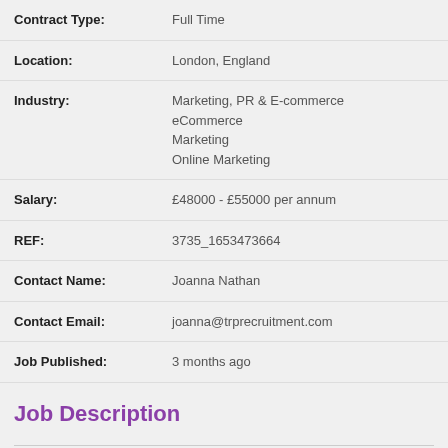| Contract Type: | Full Time |
| Location: | London, England |
| Industry: | Marketing, PR & E-commerce
eCommerce
Marketing
Online Marketing |
| Salary: | £48000 - £55000 per annum |
| REF: | 3735_1653473664 |
| Contact Name: | Joanna Nathan |
| Contact Email: | joanna@trprecruitment.com |
| Job Published: | 3 months ago |
Job Description